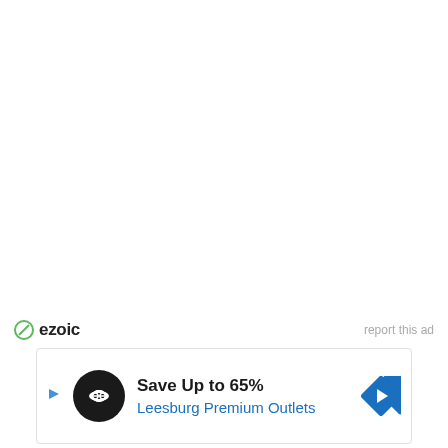[Figure (logo): Ezoic logo with green circle-slash icon and bold 'ezoic' text, with 'report this ad' link on the right]
[Figure (infographic): Advertisement banner: play arrow icon, black circle logo with infinity/link symbol, text 'Save Up to 65%' and 'Leesburg Premium Outlets' in blue, blue diamond navigation arrow icon on the right]